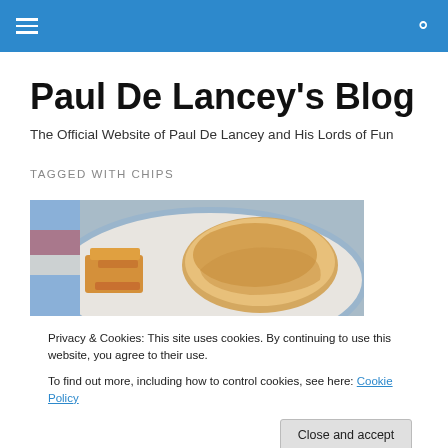Paul De Lancey's Blog - navigation bar
Paul De Lancey's Blog
The Official Website of Paul De Lancey and His Lords of Fun
TAGGED WITH CHIPS
[Figure (photo): Photo of an Omani Chips Sandwich on a plate - a croissant-style roll with chips/fries on a white plate with blue rim, colorful background]
Privacy & Cookies: This site uses cookies. By continuing to use this website, you agree to their use.
To find out more, including how to control cookies, see here: Cookie Policy
Omani Chips Sandwich